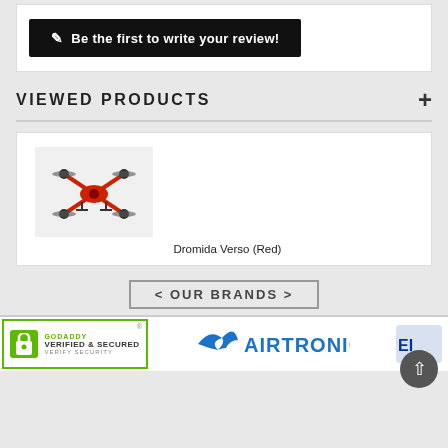[Figure (screenshot): Button: 'Be the first to write your review!' with pencil icon, white text on black background]
VIEWED PRODUCTS
[Figure (photo): Red quadcopter drone (Dromida Verso Red) with four arms and rotors, photographed from above-angle on white background]
Dromida Verso (Red)
[Figure (other): < OUR BRANDS > navigation banner button]
[Figure (logo): GoDaddy Verified & Secured seal, green padlock icon]
[Figure (logo): Airtronics logo with stylized bird/wing icon]
[Figure (logo): Partial logo at right edge of page]